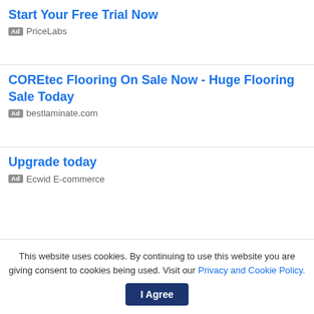Start Your Free Trial Now
Ad PriceLabs
COREtec Flooring On Sale Now - Huge Flooring Sale Today
Ad bestlaminate.com
Upgrade today
Ad Ecwid E-commerce
This website uses cookies. By continuing to use this website you are giving consent to cookies being used. Visit our Privacy and Cookie Policy.